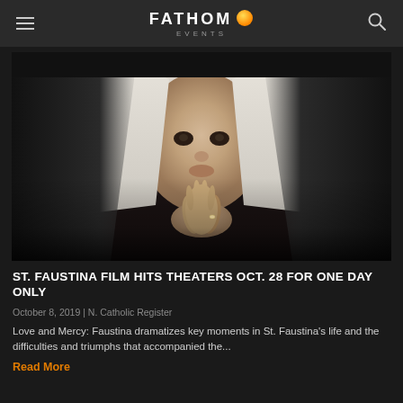Fathom Events
[Figure (photo): A nun in black habit and white wimple with hands pressed together in prayer, looking upward, against a light background]
ST. FAUSTINA FILM HITS THEATERS OCT. 28 FOR ONE DAY ONLY
October 8, 2019 | N. Catholic Register
Love and Mercy: Faustina dramatizes key moments in St. Faustina's life and the difficulties and triumphs that accompanied the...
Read More